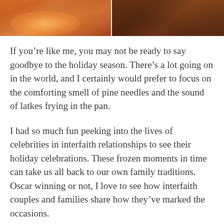[Figure (photo): Two cropped photos side by side at the top of the page — left shows colorful holiday/floral decorations in warm orange and red tones; right shows a warm brown wooden surface or table setting.]
If you're like me, you may not be ready to say goodbye to the holiday season. There's a lot going on in the world, and I certainly would prefer to focus on the comforting smell of pine needles and the sound of latkes frying in the pan.
I had so much fun peeking into the lives of celebrities in interfaith relationships to see their holiday celebrations. These frozen moments in time can take us all back to our own family traditions. Oscar winning or not, I love to see how interfaith couples and families share how they've marked the occasions.
From ridiculous and hilarious to heartwarming and special, check out the range of ways these celebrities